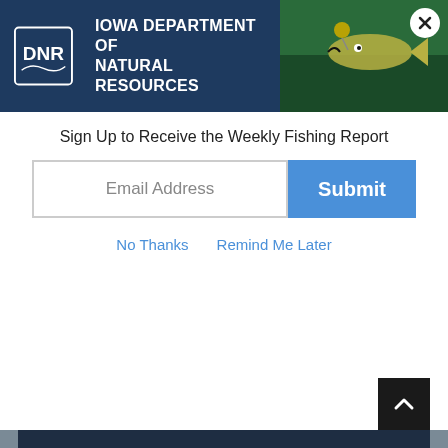[Figure (screenshot): Iowa Department of Natural Resources header banner with DNR logo and fish photo]
Sign Up to Receive the Weekly Fishing Report
Email Address
Submit
No Thanks   Remind Me Later
a list of current fish consumption advisories for Iowa lakes and rivers.
Return
Our Mission
To conserve and enhance our natural resources in cooperation with individuals and organizations to improve the quality of life in Iowa and ensure a legacy for future generations.